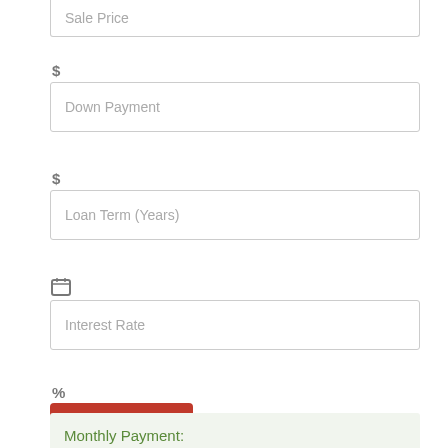[Figure (screenshot): Partial input field for Sale Price at top of page]
$
Down Payment
$
Loan Term (Years)
[Figure (other): Calendar icon]
Interest Rate
%
Calculate
Monthly Payment: